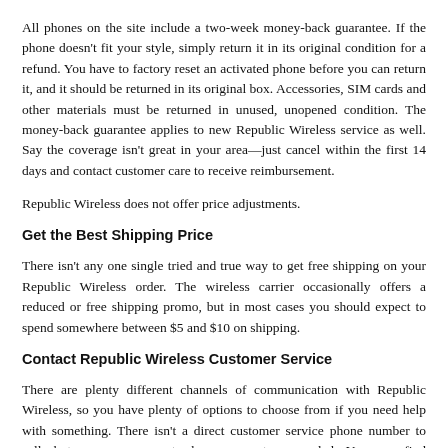All phones on the site include a two-week money-back guarantee. If the phone doesn't fit your style, simply return it in its original condition for a refund. You have to factory reset an activated phone before you can return it, and it should be returned in its original box. Accessories, SIM cards and other materials must be returned in unused, unopened condition. The money-back guarantee applies to new Republic Wireless service as well. Say the coverage isn't great in your area—just cancel within the first 14 days and contact customer care to receive reimbursement.
Republic Wireless does not offer price adjustments.
Get the Best Shipping Price
There isn't any one single tried and true way to get free shipping on your Republic Wireless order. The wireless carrier occasionally offers a reduced or free shipping promo, but in most cases you should expect to spend somewhere between $5 and $10 on shipping.
Contact Republic Wireless Customer Service
There are plenty different channels of communication with Republic Wireless, so you have plenty of options to choose from if you need help with something. There isn't a direct customer service phone number to call, but you can request phone support as needed. You can find community support, live chat and help ticket options on the company's Contact Us page.